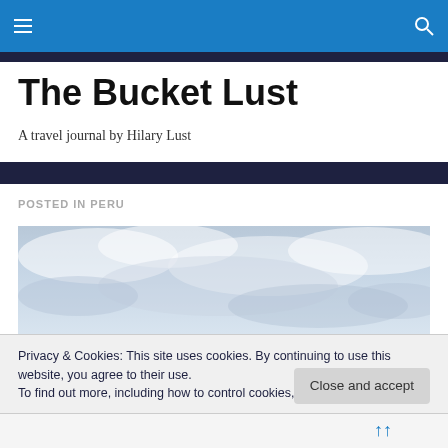The Bucket Lust - navigation bar with hamburger menu and search icon
The Bucket Lust
A travel journal by Hilary Lust
POSTED IN PERU
[Figure (photo): Sky with clouds - grayish-blue overcast sky photo]
Privacy & Cookies: This site uses cookies. By continuing to use this website, you agree to their use.
To find out more, including how to control cookies, see here: Cookie Policy
Close and accept